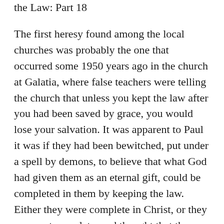the Law: Part 18
The first heresy found among the local churches was probably the one that occurred some 1950 years ago in the church at Galatia, where false teachers were telling the church that unless you kept the law after you had been saved by grace, you would lose your salvation. It was apparent to Paul it was if they had been bewitched, put under a spell by demons, to believe that what God had given them as an eternal gift, could be completed in them by keeping the law. Either they were complete in Christ, or they were not complete, and thought that they could be made complete, or perfect, in him.